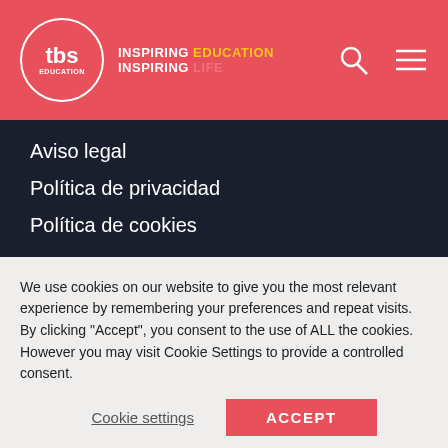[Figure (logo): TBS Education logo — circular white border with tbs text and EDUCATION below, with tagline INSPIRING EDUCATION INSPIRING LIFE in white and yellow on red background]
Aviso legal
Política de privacidad
Política de cookies
BUSCAR
INSCRIPCIÓN
We use cookies on our website to give you the most relevant experience by remembering your preferences and repeat visits. By clicking "Accept", you consent to the use of ALL the cookies. However you may visit Cookie Settings to provide a controlled consent.
Cookie settings
ACCEPT